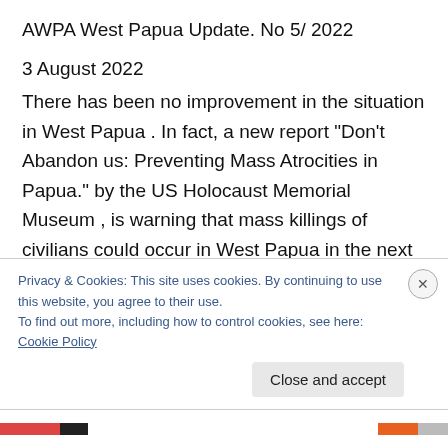AWPA West Papua Update. No 5/ 2022
3 August 2022
There has been no improvement in the situation in West Papua . In fact, a new report “Don’t Abandon us: Preventing Mass Atrocities in Papua.” by the US Holocaust Memorial Museum , is warning that mass killings of civilians could occur in West Papua in the next year to 18 months if the current conditions continue to deteriorate to a worst-case scenario. Although large-scale violence against civilians is not occurring yet in Papua,
Privacy & Cookies: This site uses cookies. By continuing to use this website, you agree to their use.
To find out more, including how to control cookies, see here: Cookie Policy